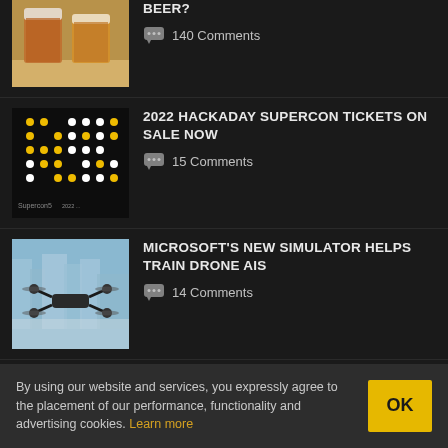[Figure (photo): Two glasses of beer on a table]
BEER?
140 Comments
[Figure (photo): Supercon5 dot-matrix logo/pattern in yellow and white dots on dark background]
2022 HACKADAY SUPERCON TICKETS ON SALE NOW
15 Comments
[Figure (photo): Drone flying over a city simulation environment]
MICROSOFT'S NEW SIMULATOR HELPS TRAIN DRONE AIS
14 Comments
By using our website and services, you expressly agree to the placement of our performance, functionality and advertising cookies. Learn more